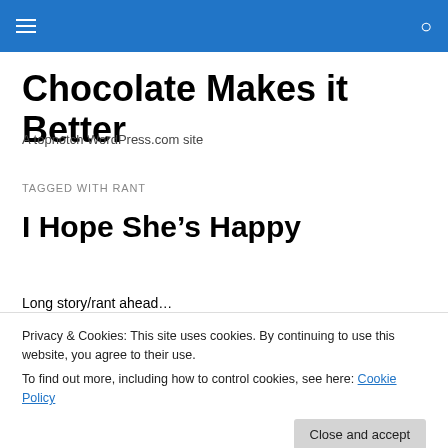Chocolate Makes it Better
A topnotch WordPress.com site
TAGGED WITH RANT
I Hope She's Happy
Long story/rant ahead…
Privacy & Cookies: This site uses cookies. By continuing to use this website, you agree to their use.
To find out more, including how to control cookies, see here: Cookie Policy
baby, so has a Traumatic Brain Injury (I'm gonna refer to it